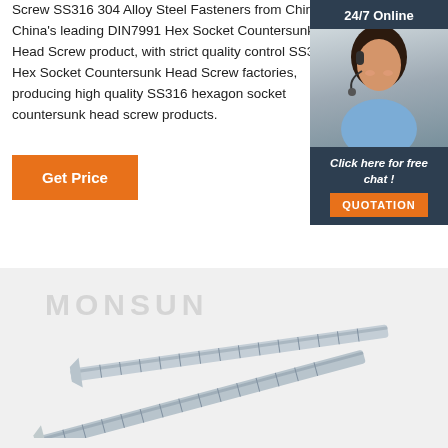Screw SS316 304 Alloy Steel Fasteners from China, China's leading DIN7991 Hex Socket Countersunk Head Screw product, with strict quality control SS316 Hex Socket Countersunk Head Screw factories, producing high quality SS316 hexagon socket countersunk head screw products.
Get Price
[Figure (other): Sidebar with 24/7 Online support agent photo, 'Click here for free chat!' text, and QUOTATION button]
[Figure (photo): Product photo of metallic countersunk screws with MONSUN watermark]